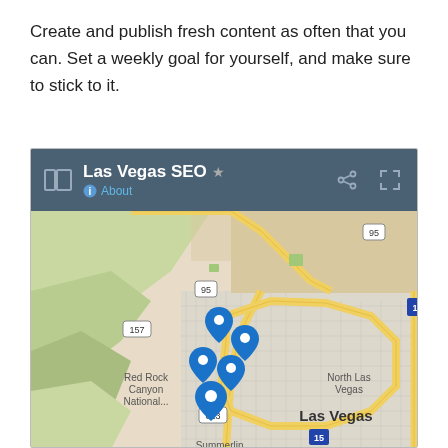Create and publish fresh content as often that you can. Set a weekly goal for yourself, and make sure to stick to it.
[Figure (screenshot): Google Maps screenshot showing 'Las Vegas SEO' map with location pins around Las Vegas area, including Red Rock Canyon National area, North Las Vegas label, Summerlin label, and highway markers 95, 157, 613, 15.]